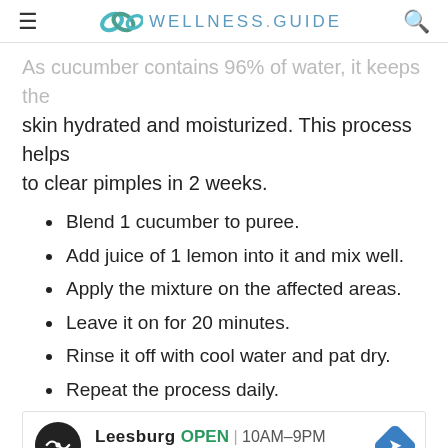WELLNESS.GUIDE
As cucumber contains 96% of water, it keeps the skin hydrated and moisturized. This process helps to clear pimples in 2 weeks.
Blend 1 cucumber to puree.
Add juice of 1 lemon into it and mix well.
Apply the mixture on the affected areas.
Leave it on for 20 minutes.
Rinse it off with cool water and pat dry.
Repeat the process daily.
[Figure (screenshot): Advertisement for a store in Leesburg: OPEN 10AM-9PM, 241 Fort Evans Rd NE, Leesburg]